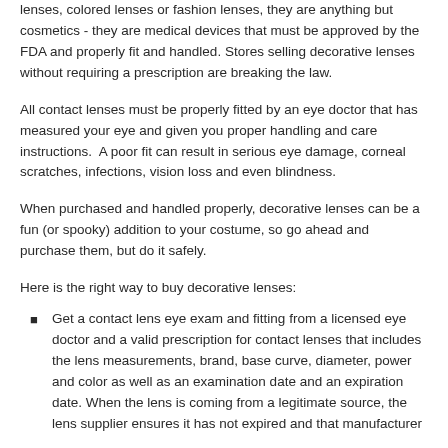lenses, colored lenses or fashion lenses, they are anything but cosmetics - they are medical devices that must be approved by the FDA and properly fit and handled. Stores selling decorative lenses without requiring a prescription are breaking the law.
All contact lenses must be properly fitted by an eye doctor that has measured your eye and given you proper handling and care instructions. A poor fit can result in serious eye damage, corneal scratches, infections, vision loss and even blindness.
When purchased and handled properly, decorative lenses can be a fun (or spooky) addition to your costume, so go ahead and purchase them, but do it safely.
Here is the right way to buy decorative lenses:
Get a contact lens eye exam and fitting from a licensed eye doctor and a valid prescription for contact lenses that includes the lens measurements, brand, base curve, diameter, power and color as well as an examination date and an expiration date. When the lens is coming from a legitimate source, the lens supplier ensures it has not expired and that manufacturer